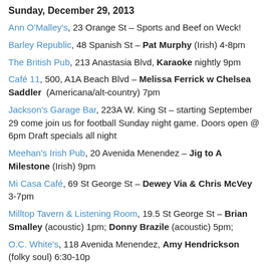Sunday, December 29, 2013
Ann O'Malley's, 23 Orange St – Sports and Beef on Weck!
Barley Republic, 48 Spanish St – Pat Murphy (Irish) 4-8pm
The British Pub, 213 Anastasia Blvd, Karaoke nightly 9pm
Café 11, 500, A1A Beach Blvd – Melissa Ferrick w Chelsea Saddler (Americana/alt-country) 7pm
Jackson's Garage Bar, 223A W. King St – starting September 29 come join us for football Sunday night game. Doors open @ 6pm Draft specials all night
Meehan's Irish Pub, 20 Avenida Menendez – Jig to A Milestone (Irish) 9pm
Mi Casa Café, 69 St George St – Dewey Via & Chris McVey 3-7pm
Milltop Tavern & Listening Room, 19.5 St George St – Brian Smalley (acoustic) 1pm; Donny Brazile (acoustic) 5pm;
O.C. White's, 118 Avenida Menendez, Amy Hendrickson (folky soul) 6:30-10p
Panama Hattie's, 361 A1A Beach Blvd, Reggae Sunday 5-8pm; ...